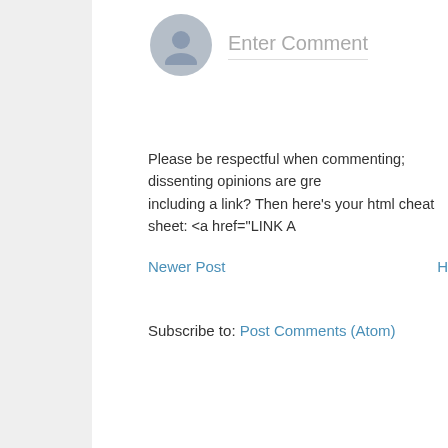[Figure (illustration): User avatar icon - gray circle with person silhouette]
Enter Comment
Please be respectful when commenting; dissenting opinions are gre including a link? Then here's your html cheat sheet: <a href="LINK A
Newer Post
H
Subscribe to: Post Comments (Atom)
Follow Me:
Cop
Endorsement Disclosure: As an Amazon Associate I e
[Figure (logo): SHE Media Collective - HOME + DIY advertisement with play button and close button]
[Figure (screenshot): SHE Partner Network banner ad - We Help Content Creators Grow Businesses Through... Learn More button]